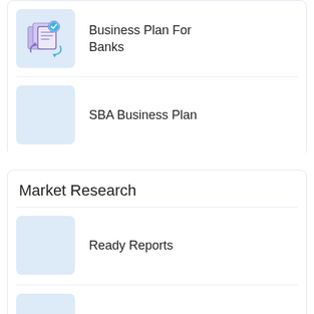[Figure (illustration): Icon showing documents with arrows in a circular refresh/sync pattern, purple and blue tones on light blue background]
Business Plan For Banks
[Figure (illustration): Light blue placeholder thumbnail, empty]
SBA Business Plan
Market Research
[Figure (illustration): Light blue placeholder thumbnail, empty]
Ready Reports
[Figure (illustration): Light blue placeholder thumbnail, partially visible at bottom]